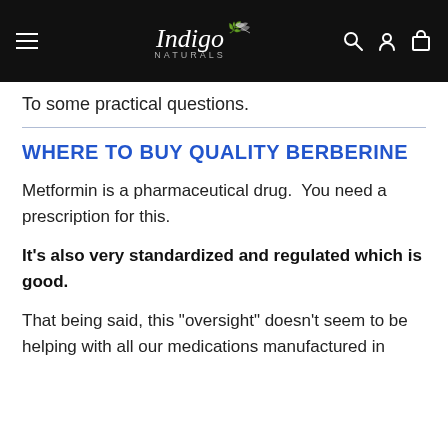Indigo Naturals
To some practical questions.
WHERE TO BUY QUALITY BERBERINE
Metformin is a pharmaceutical drug.  You need a prescription for this.
It's also very standardized and regulated which is good.
That being said, this "oversight" doesn't seem to be helping with all our medications manufactured in